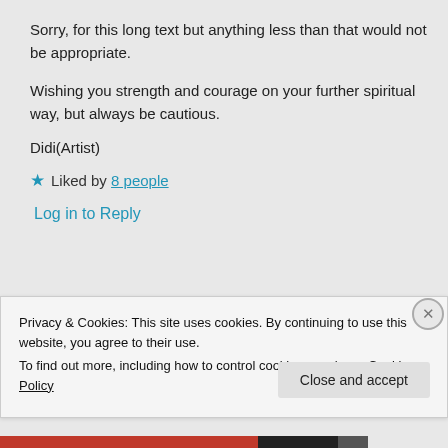Sorry, for this long text but anything less than that would not be appropriate.
Wishing you strength and courage on your further spiritual way, but always be cautious.
Didi(Artist)
★ Liked by 8 people
Log in to Reply
Privacy & Cookies: This site uses cookies. By continuing to use this website, you agree to their use.
To find out more, including how to control cookies, see here: Cookie Policy
Close and accept